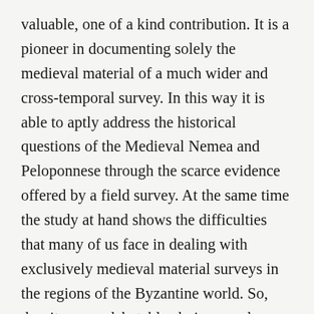valuable, one of a kind contribution. It is a pioneer in documenting solely the medieval material of a much wider and cross-temporal survey. In this way it is able to aptly address the historical questions of the Medieval Nemea and Peloponnese through the scarce evidence offered by a field survey. At the same time the study at hand shows the difficulties that many of us face in dealing with exclusively medieval material surveys in the regions of the Byzantine world. So, despite some debatable choices, such as the rather long introduction and the exclusion of earlier Byzantine history from the analysis of the material, the book offers a refinement upon the methodology of its field and focuses its use on a specific historical question. As it is only by pioneering work that